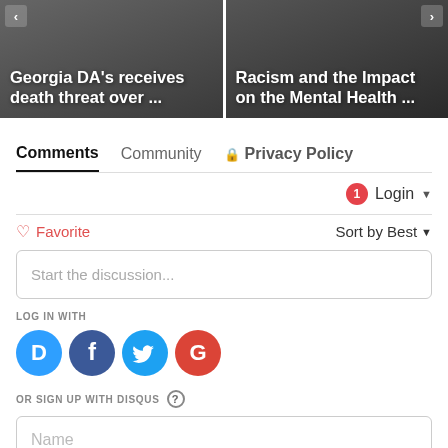[Figure (screenshot): Two news article thumbnail cards side by side. Left card shows 'Georgia DA's receives death threat over ...' on a dark background. Right card shows 'Racism and the Impact on the Mental Health ...' on a dark background with navigation arrows.]
Comments   Community   🔒 Privacy Policy
1   Login ▾
♡ Favorite   Sort by Best ▾
Start the discussion...
LOG IN WITH
[Figure (logo): Social login icons: Disqus (blue speech bubble with D), Facebook (dark blue circle with f), Twitter (light blue circle with bird), Google (red circle with G)]
OR SIGN UP WITH DISQUS ?
Name